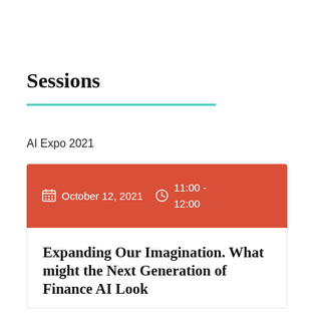Sessions
AI Expo 2021
October 12, 2021  11:00 - 12:00
Expanding Our Imagination. What might the Next Generation of Finance AI Look